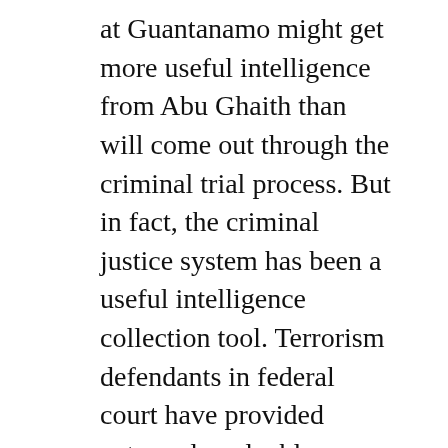at Guantanamo might get more useful intelligence from Abu Ghaith than will come out through the criminal trial process. But in fact, the criminal justice system has been a useful intelligence collection tool. Terrorism defendants in federal court have provided extremely valuable intelligence — including telephone numbers and email addresses used by Al Qaeda; information on terrorism recruiting techniques and finances; locations of training camps, safe houses and terrorists; names of operatives involved in past and planned attacks; and details of active plots. Those sent to Guantanamo have far less incentive to talk.
In recent years, the FBI has updated its policies to allow the initial interrogations of terrorists to be conducted without Miranda warnings,